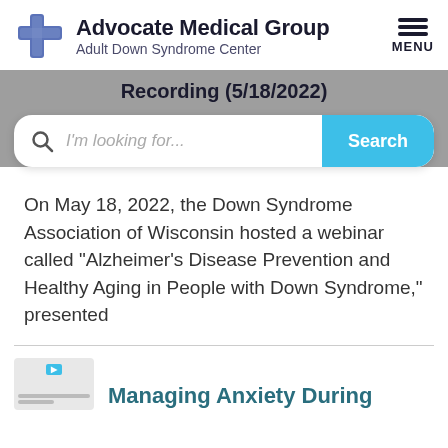Advocate Medical Group – Adult Down Syndrome Center
Recording (5/18/2022)
[Figure (screenshot): Search bar with magnifying glass icon, placeholder text 'I'm looking for...', and a cyan 'Search' button]
On May 18, 2022, the Down Syndrome Association of Wisconsin hosted a webinar called "Alzheimer's Disease Prevention and Healthy Aging in People with Down Syndrome," presented
Managing Anxiety During